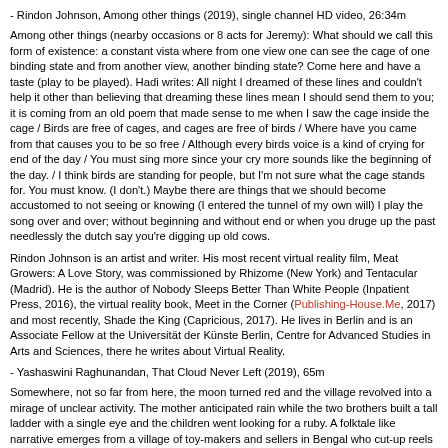- Rindon Johnson, Among other things (2019), single channel HD video, 26:34m
Among other things (nearby occasions or 8 acts for Jeremy): What should we call this form of existence: a constant vista where from one view one can see the cage of one binding state and from another view, another binding state? Come here and have a taste (play to be played). Hadi writes: All night I dreamed of these lines and couldn't help it other than believing that dreaming these lines mean I should send them to you; it is coming from an old poem that made sense to me when I saw the cage inside the cage / Birds are free of cages, and cages are free of birds / Where have you came from that causes you to be so free / Although every birds voice is a kind of crying for end of the day / You must sing more since your cry more sounds like the beginning of the day. / I think birds are standing for people, but I'm not sure what the cage stands for. You must know. (I don't.) Maybe there are things that we should become accustomed to not seeing or knowing (I entered the tunnel of my own will) I play the song over and over; without beginning and without end or when you druge up the past needlessly the dutch say you're digging up old cows.
Rindon Johnson is an artist and writer. His most recent virtual reality film, Meat Growers: A Love Story, was commissioned by Rhizome (New York) and Tentacular (Madrid). He is the author of Nobody Sleeps Better Than White People (Inpatient Press, 2016), the virtual reality book, Meet in the Corner (Publishing-House.Me, 2017) and most recently, Shade the King (Capricious, 2017). He lives in Berlin and is an Associate Fellow at the Universität der Künste Berlin, Centre for Advanced Studies in Arts and Sciences, there he writes about Virtual Reality.
- Yashaswini Raghunandan, That Cloud Never Left (2019), 65m
Somewhere, not so far from here, the moon turned red and the village revolved into a mirage of unclear activity. The mother anticipated rain while the two brothers built a tall ladder with a single eye and the children went looking for a ruby. A folktale like narrative emerges from a village of toy-makers and sellers in Bengal who cut-up reels and reels of Bollywood, Tollywood and B-grade films to make a living out of loud sounding rattlers, whistles and whirligigs.
Yashaswini Raghunandan is currently an artist in residence at the Rijksakademie van Beeldende Kunsten, Amsterdam. She works in the field of film and sound.
- Eoghan Ryan, Truly Rural (2019), 18:14m
Truly Rural presents the countryside as an environment where eruptions of disgust and social